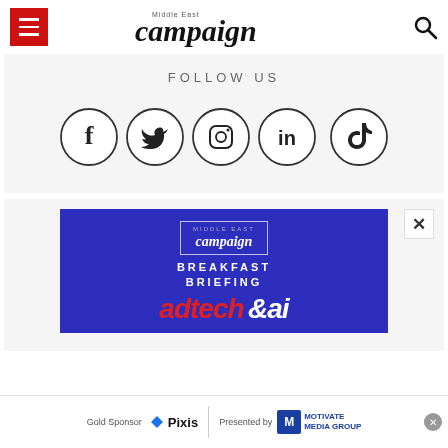campaign Middle East
FOLLOW US
[Figure (illustration): Five social media icons in circles: Facebook, Twitter, Instagram, LinkedIn, TikTok]
[Figure (illustration): Campaign Breakfast Briefing - Adtech & AI promotional banner on dark blue background]
[Figure (illustration): Bottom banner ad: Gold Sponsor Pixis, Presented by Motivate Media Group]